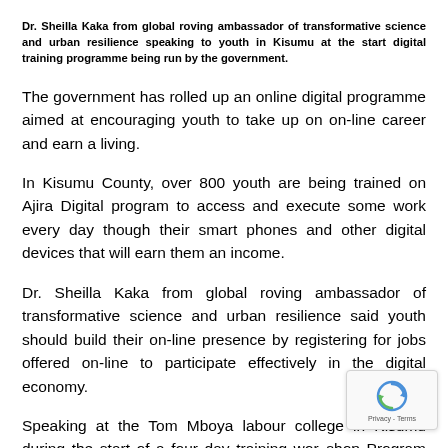Dr. Sheilla Kaka from global roving ambassador of transformative science and urban resilience speaking to youth in Kisumu at the start digital training programme being run by the government.
The government has rolled up an online digital programme aimed at encouraging youth to take up on on-line career and earn a living.
In Kisumu County, over 800 youth are being trained on Ajira Digital program to access and execute some work every day though their smart phones and other digital devices that will earn them an income.
Dr. Sheilla Kaka from global roving ambassador of transformative science and urban resilience said youth should build their on-line presence by registering for jobs offered on-line to participate effectively in the digital economy.
Speaking at the Tom Mboya labour college in Kisumu during the start of a four day training workshop Program today, Dr. Kaka the government Program aims at sensitizing the youth on existence of online